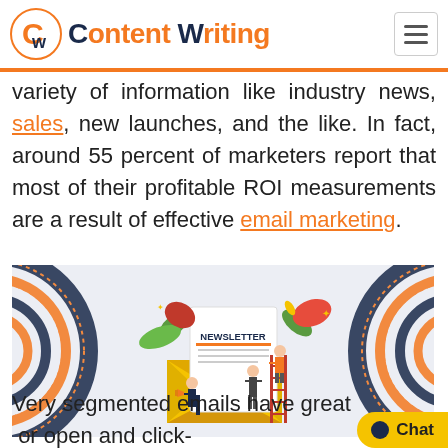Content Writing
variety of information like industry news, sales, new launches, and the like. In fact, around 55 percent of marketers report that most of their profitable ROI measurements are a result of effective email marketing.
[Figure (illustration): Newsletter email marketing illustration showing a large yellow envelope with a letter labeled NEWSLETTER, surrounded by decorative plants, people, and concentric circle decorations on left and right sides.]
Very segmented emails have great for open and click-